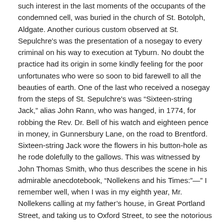such interest in the last moments of the occupants of the condemned cell, was buried in the church of St. Botolph, Aldgate. Another curious custom observed at St. Sepulchre's was the presentation of a nosegay to every criminal on his way to execution at Tyburn. No doubt the practice had its origin in some kindly feeling for the poor unfortunates who were so soon to bid farewell to all the beauties of earth. One of the last who received a nosegay from the steps of St. Sepulchre's was "Sixteen-string Jack," alias John Rann, who was hanged, in 1774, for robbing the Rev. Dr. Bell of his watch and eighteen pence in money, in Gunnersbury Lane, on the road to Brentford. Sixteen-string Jack wore the flowers in his button-hole as he rode dolefully to the gallows. This was witnessed by John Thomas Smith, who thus describes the scene in his admirable anecdotebook, "Nollekens and his Times:"—" I remember well, when I was in my eighth year, Mr. Nollekens calling at my father's house, in Great Portland Street, and taking us to Oxford Street, to see the notorious Jack Rann, commonly called Sixteenstring Jack, go to Tyburn to be hanged. ... The criminal was dressed in a pea-green coat, with an immense nosegay in the button-hole, which had been presented to him at St. Sepulchre's steps; and his nankeen small-clothes, we were told, were tied at each knee with sixteen strings. After he had passed, and Mr. Nollekens was leading me home by the hand, I recollect his stooping down to me and observing, in a low tone of voice, 'Tom, now, my little man, if my father-in-